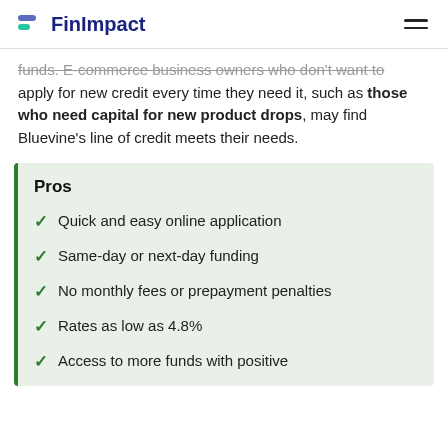FinImpact
funds. E-commerce business owners who don't want to apply for new credit every time they need it, such as those who need capital for new product drops, may find Bluevine's line of credit meets their needs.
Pros
Quick and easy online application
Same-day or next-day funding
No monthly fees or prepayment penalties
Rates as low as 4.8%
Access to more funds with positive